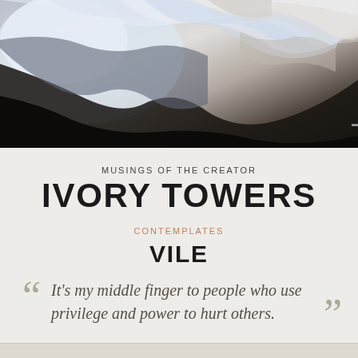[Figure (photo): Dark artistic photograph showing draped or flowing fabric/material with light and dark contrast, abstract composition with whites, grays, and deep blacks]
MUSINGS OF THE CREATOR
IVORY TOWERS
CONTEMPLATES
VILE
It's my middle finger to people who use privilege and power to hurt others.